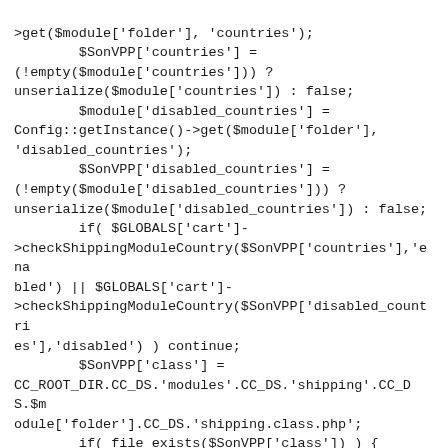>get($module['folder'], 'countries');
        $SonVPP['countries'] =
(!empty($module['countries'])) ?
unserialize($module['countries']) : false;
        $module['disabled_countries'] =
Config::getInstance()->get($module['folder'],
'disabled_countries');
        $SonVPP['disabled_countries'] =
(!empty($module['disabled_countries'])) ?
unserialize($module['disabled_countries']) : false;
        if( $GLOBALS['cart']-
>checkShippingModuleCountry($SonVPP['countries'],'ena
bled') || $GLOBALS['cart']-
>checkShippingModuleCountry($SonVPP['disabled_countri
es'],'disabled') ) continue;
        $SonVPP['class'] =
CC_ROOT_DIR.CC_DS.'modules'.CC_DS.'shipping'.CC_DS.$m
odule['folder'].CC_DS.'shipping.class.php';
        if( file_exists($SonVPP['class']) ) {
          // Version 5 Shipping Calculators
          // fix for duplicate shipping module entries
in config table